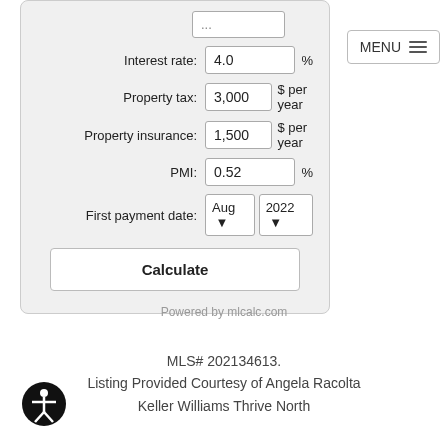[Figure (screenshot): Mortgage calculator form showing fields: Interest rate (4.0 %), Property tax (3,000 $ per year), Property insurance (1,500 $ per year), PMI (0.52 %), First payment date (Aug 2022), and a Calculate button.]
Powered by mlcalc.com
MLS# 202134613.
Listing Provided Courtesy of Angela Racolta
Keller Williams Thrive North
[Figure (logo): Accessibility icon: black circle with white figure of a person with arms outstretched]